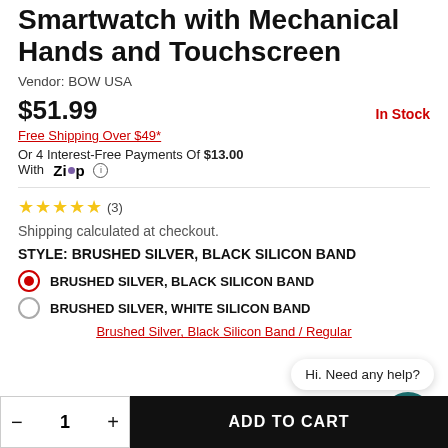Smartwatch with Mechanical Hands and Touchscreen
Vendor: BOW USA
$51.99
In Stock
Free Shipping Over $49*
Or 4 Interest-Free Payments Of $13.00 With Zip
(3)
Shipping calculated at checkout.
STYLE: BRUSHED SILVER, BLACK SILICON BAND
BRUSHED SILVER, BLACK SILICON BAND
BRUSHED SILVER, WHITE SILICON BAND
Brushed Silver, Black Silicon Band / Regular
Hi. Need any help?
ADD TO CART